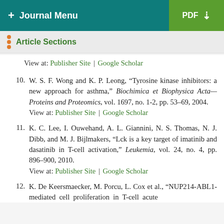+ Journal Menu | PDF
Article Sections
View at: Publisher Site | Google Scholar
10. W. S. F. Wong and K. P. Leong, "Tyrosine kinase inhibitors: a new approach for asthma," Biochimica et Biophysica Acta—Proteins and Proteomics, vol. 1697, no. 1-2, pp. 53–69, 2004.
View at: Publisher Site | Google Scholar
11. K. C. Lee, I. Ouwehand, A. L. Giannini, N. S. Thomas, N. J. Dibb, and M. J. Bijlmakers, "Lck is a key target of imatinib and dasatinib in T-cell activation," Leukemia, vol. 24, no. 4, pp. 896–900, 2010.
View at: Publisher Site | Google Scholar
12. K. De Keersmaecker, M. Porcu, L. Cox et al., "NUP214-ABL1-mediated cell proliferation in T-cell acute